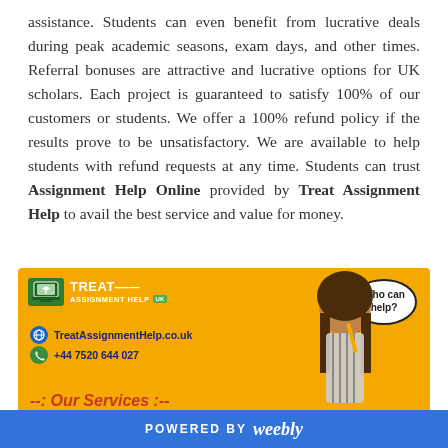assistance. Students can even benefit from lucrative deals during peak academic seasons, exam days, and other times. Referral bonuses are attractive and lucrative options for UK scholars. Each project is guaranteed to satisfy 100% of our customers or students. We offer a 100% refund policy if the results prove to be unsatisfactory. We are available to help students with refund requests at any time. Students can trust Assignment Help Online provided by Treat Assignment Help to avail the best service and value for money.
[Figure (infographic): Yellow banner advertisement for Treat Assignment Help UK. Contains laptop logo, company name, website TreatAssignmentHelp.co.uk, phone +44 7520 644 027, a thought bubble saying 'Who can help?', a photo of a thinking woman, and text '--: Our Services :--']
POWERED BY weebly